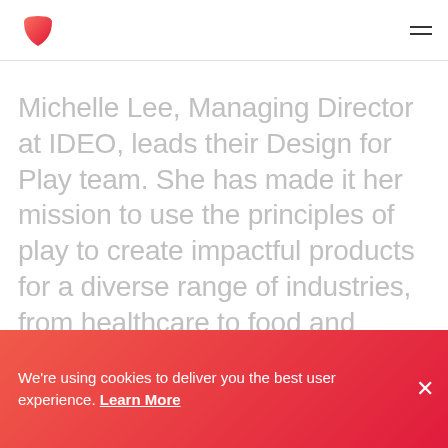[Figure (logo): Red gradient bowl/teardrop shaped logo]
Michelle Lee, Managing Director at IDEO, leads their Design for Play team. She has made it her mission to use the principles of play to create impactful products for a diverse range of industries, from healthcare to food and beverage. Michelle is...
We're using cookies to deliver you the best user experience. Learn More